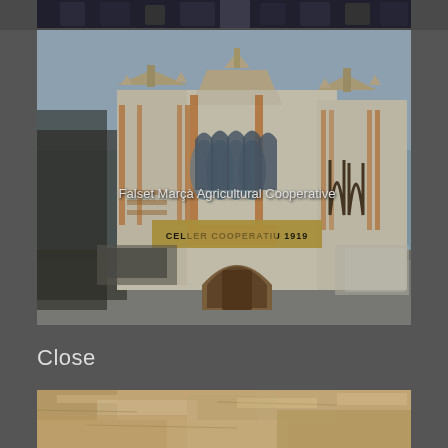[Figure (photo): Partial top strip showing dark image content at the very top of the screen]
[Figure (photo): Street view photo of Falset Marçà Agricultural Cooperative building - a ornate early 20th century Catalan modernist building with arched entrance, decorative facade, flagpoles and text 'CELLER COOPERATIU 1919' on the facade. White label text overlaid: 'Falset Marçà Agricultural Cooperative']
Close
[Figure (photo): Bottom partial image showing a sandy/rocky textured surface, tan and beige tones]